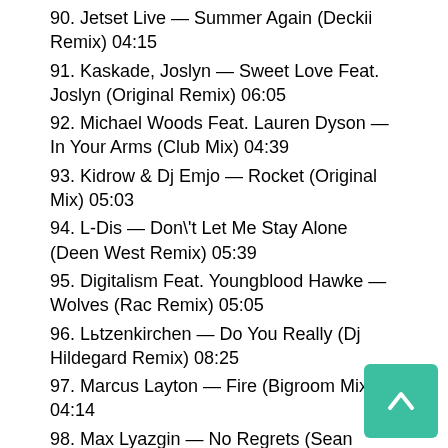90. Jetset Live — Summer Again (Deckii Remix) 04:15
91. Kaskade, Joslyn — Sweet Love Feat. Joslyn (Original Remix) 06:05
92. Michael Woods Feat. Lauren Dyson — In Your Arms (Club Mix) 04:39
93. Kidrow & Dj Emjo — Rocket (Original Mix) 05:03
94. L-Dis — Don\'t Let Me Stay Alone (Deen West Remix) 05:39
95. Digitalism Feat. Youngblood Hawke — Wolves (Rac Remix) 05:05
96. Lьtzenkirchen — Do You Really (Dj Hildegard Remix) 08:25
97. Marcus Layton — Fire (Bigroom Mix) 04:14
98. Max Lyazgin — No Regrets (Sean Garnier Remix) 05:54
99. Dj Kuba & Ne!Tan Vs. Cherry Feat. Jonny Rose — Escape With Me (Extended Mix) 05:12
100. Dj Jean Paul Vs. Alex Del La South — 1998 (Original Mix) 05:11
101. Jules & Moss — Nans Et Moots (Oliver Schories Remix) 06:51
102. Mark Room — Babap (Radio Edit) 02:21
103. Dj Tomsta Feat. Caty B — Irregular Heartbeats (Extended Mix) 05:26